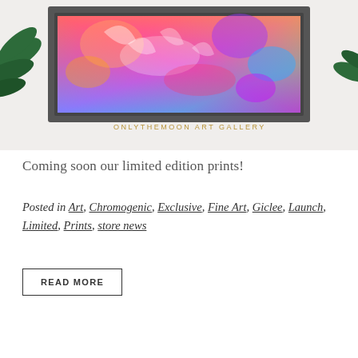[Figure (photo): A framed colorful abstract artwork with vibrant orange, pink, purple, and blue hues displayed against a light background with tropical leaves. Text reads 'ONLYTHEMOON ART GALLERY' in gold lettering below the frame.]
Coming soon our limited edition prints!
Posted in Art, Chromogenic, Exclusive, Fine Art, Giclee, Launch, Limited, Prints, store news
READ MORE